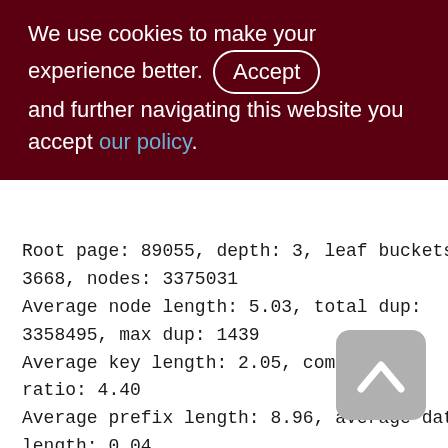We use cookies to make your experience better. By accepting and further navigating this website you accept our policy.
Root page: 89055, depth: 3, leaf buckets: 3668, nodes: 3375031
Average node length: 5.03, total dup: 3358495, max dup: 1439
Average key length: 2.05, compression ratio: 4.40
Average prefix length: 8.96, average data length: 0.04
Clustering factor: 675771, ratio: 0.20
Fill distribution:
0 - 19% = 15
20 - 39% = 372
40 - 59% = 1989